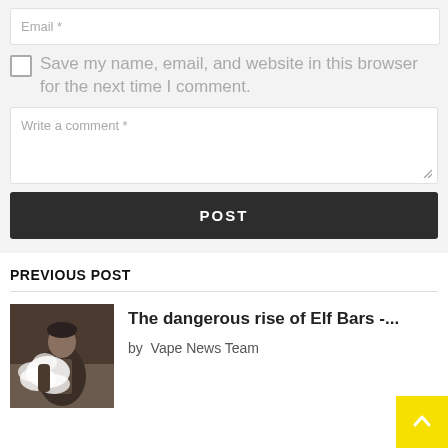Email *
Save my name, email, and website in this browser for the next time I comment.
Write a comment *
POST
PREVIOUS POST
[Figure (photo): Person vaping with large cloud of vapor, wearing a vest]
The dangerous rise of Elf Bars -...
by Vape News Team